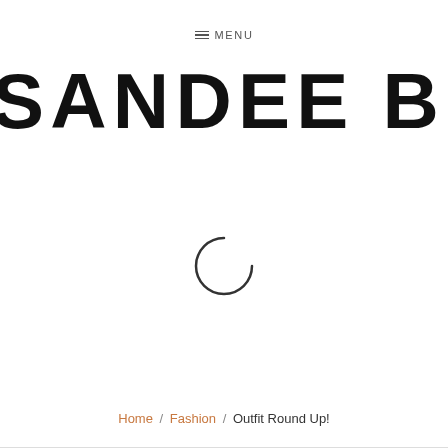≡ MENU
SANDEE BOOTH
[Figure (other): Loading spinner arc/circle indicating content is loading]
Home / Fashion / Outfit Round Up!